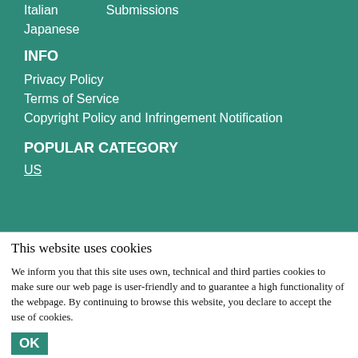Italian
Submissions
Japanese
INFO
Privacy Policy
Terms of Service
Copyright Policy and Infringement Notification
POPULAR CATEGORY
US
This website uses cookies
We inform you that this site uses own, technical and third parties cookies to make sure our web page is user-friendly and to guarantee a high functionality of the webpage. By continuing to browse this website, you declare to accept the use of cookies.
OK